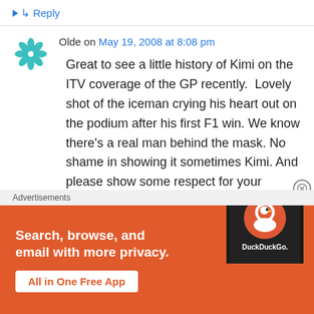↳ Reply
Olde on May 19, 2008 at 8:08 pm
Great to see a little history of Kimi on the ITV coverage of the GP recently. Lovely shot of the iceman crying his heart out on the podium after his first F1 win. We know there's a real man behind the mask. No shame in showing it sometimes Kimi. And please show some respect for your competitors on the podium, they measure them selves against you. the World
Advertisements
[Figure (screenshot): DuckDuckGo advertisement banner: orange background with white text 'Search, browse, and email with more privacy.' with a white button 'All in One Free App' and a phone image showing DuckDuckGo logo on the right side.]